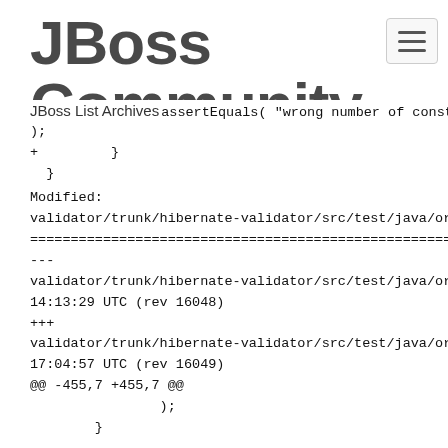[Figure (logo): JBoss Community logo with bold stylized text]
JBoss List Archives
assertEquals( "wrong number of constra
);
+         }
  }
Modified:
validator/trunk/hibernate-validator/src/test/java/org/
======================================================
---
validator/trunk/hibernate-validator/src/test/java/org/
14:13:29 UTC (rev 16048)
+++
validator/trunk/hibernate-validator/src/test/java/org/
17:04:57 UTC (rev 16049)
@@ -455,7 +455,7 @@
                );
        }